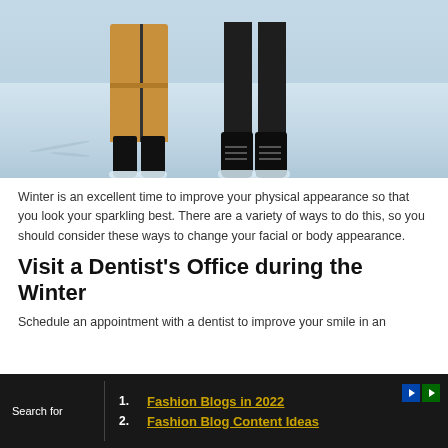[Figure (photo): Two people standing in snow, showing lower bodies only. Left person wears a camel/tan long coat and black boots with snow. Right person wears dark pants and black lace-up boots with snow on them.]
Winter is an excellent time to improve your physical appearance so that you look your sparkling best. There are a variety of ways to do this, so you should consider these ways to change your facial or body appearance.
Visit a Dentist's Office during the Winter
Schedule an appointment with a dentist to improve your smile in an
1. Fashion Blogs in 2022
2. Fashion Blog Content Ideas